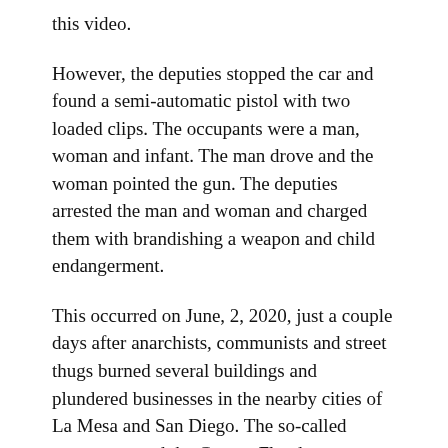this video.
However, the deputies stopped the car and found a semi-automatic pistol with two loaded clips. The occupants were a man, woman and infant. The man drove and the woman pointed the gun. The deputies arrested the man and woman and charged them with brandishing a weapon and child endangerment.
This occurred on June, 2, 2020, just a couple days after anarchists, communists and street thugs burned several buildings and plundered businesses in the nearby cities of La Mesa and San Diego. The so-called protesters used the George Floyd case as an excuse for their violence and thievery.
Far-Left political activists are often let off easy in San Diego by the legal system. If someone can